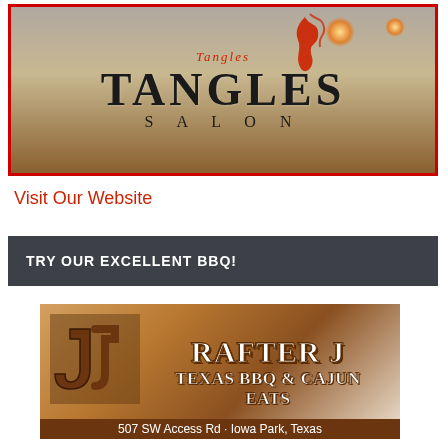[Figure (logo): Tangles Salon logo image with storefront sign showing 'TANGLES' in large letters and 'SALON' below, with a red flame/figure logo, set against a warm glowing background. Red border around image.]
Visit Our Website
TRY OUR EXCELLENT BBQ!
[Figure (photo): Rafter J Texas BBQ & Cajun Eats advertisement image with rustic aged background, horseshoe logo on left, bold western-style text reading 'RAFTER J' and 'TEXAS BBQ & CAJUN EATS', address bar at bottom reading '507 SW Access Rd - Iowa Park, Texas']